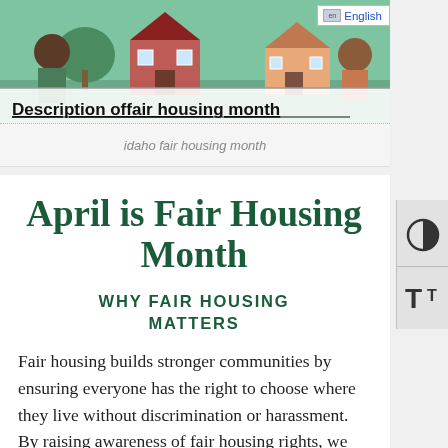[Figure (illustration): Illustrated hero image showing a neighborhood scene with houses and diverse people figures in a colorful graphic style, with a white overlay bar containing a linked heading 'Description offair housing month']
idaho fair housing month
April is Fair Housing Month
WHY FAIR HOUSING MATTERS
Fair housing builds stronger communities by ensuring everyone has the right to choose where they live without discrimination or harassment. By raising awareness of fair housing rights, we can build a stronger Idaho.